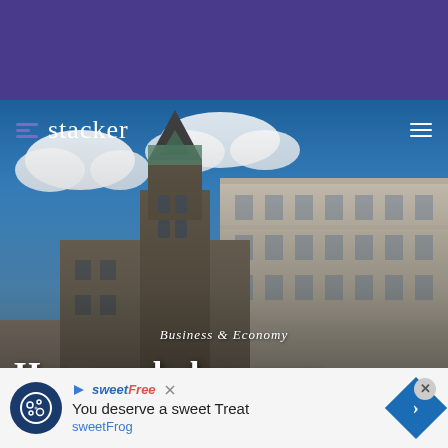[Figure (screenshot): Stacker website screenshot showing a hero image of government buildings with a purple header bar, Stacker logo navigation, category label 'Business & Economy', and article title 'How much does your state spend on you?' with an ad banner at the bottom for sweetFrog]
stacker
Business & Economy
How much does your state spend on you?
You deserve a sweet Treat sweetFrog